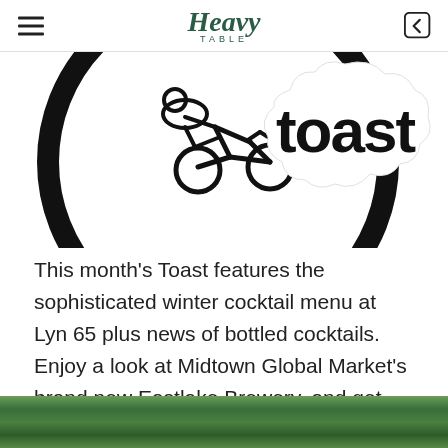Heavy Table
[Figure (logo): Heavy Table logo with cyclist illustration and 'Toast' text in bold black lettering inside a circular badge with cloud-like border]
This month's Toast features the sophisticated winter cocktail menu at Lyn 65 plus news of bottled cocktails. Enjoy a look at Midtown Global Market's brand new Eastlake Brewery, and get acquainted with 11 Wells distillery.
[Figure (photo): Bottom portion of a photo showing green trees against a light background]